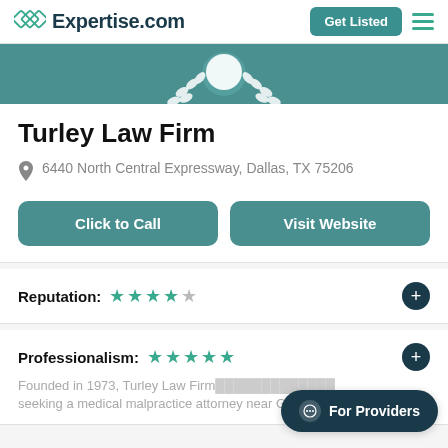Expertise.com | Get Listed
[Figure (illustration): Teal banner with laurel wreath/badge emblem at bottom center]
Turley Law Firm
6440 North Central Expressway, Dallas, TX 75206
Click to Call | Visit Website
Reputation: ★★★★☆ +
Professionalism: ★★★★★ +
Founded in 1973, Turley Law Firm... seeking a medical malpractice attorney near Garland
For Providers